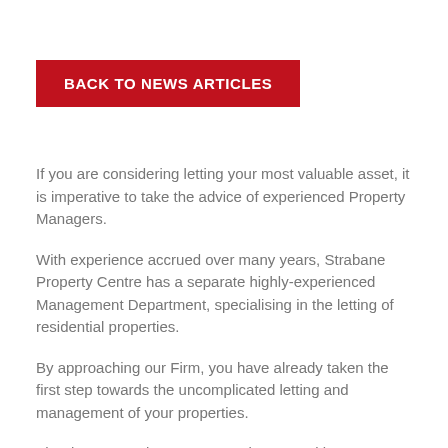BACK TO NEWS ARTICLES
If you are considering letting your most valuable asset, it is imperative to take the advice of experienced Property Managers.
With experience accrued over many years, Strabane Property Centre has a separate highly-experienced Management Department, specialising in the letting of residential properties.
By approaching our Firm, you have already taken the first step towards the uncomplicated letting and management of your properties.
The department is overseen and managed by our Estate Agent Ed Richardson...